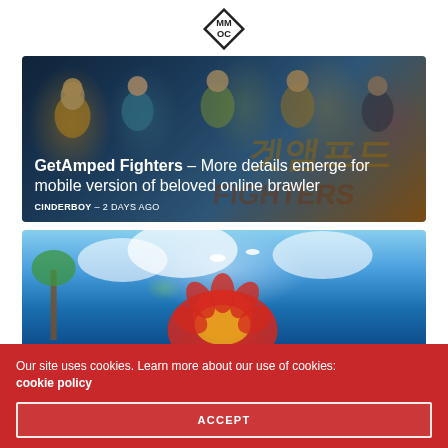MMO Culture logo
[Figure (illustration): GetAmped Fighters game banner showing anime-style cartoon characters against a game title background]
GetAmped Fighters – More details emerge for mobile version of beloved online brawler
CINDERBOY – 2 DAYS AGO
[Figure (illustration): Second game banner showing colorful sky with clouds, palm trees, and a large stylized red flower/character logo]
Our site uses cookies. Learn more about our use of cookies: cookie policy
ACCEPT